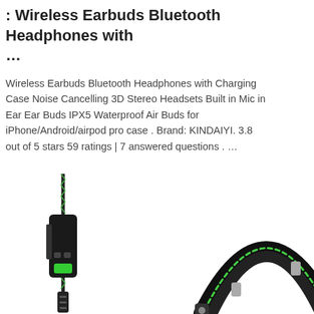: Wireless Earbuds Bluetooth Headphones with ...
Wireless Earbuds Bluetooth Headphones with Charging Case Noise Cancelling 3D Stereo Headsets Built in Mic in Ear Ear Buds IPX5 Waterproof Air Buds for iPhone/Android/airpod pro case . Brand: KINDAIYI. 3.8 out of 5 stars 59 ratings | 7 answered questions . …
[Figure (other): Blue chat widget with speech bubble icon, labeled Free Chat]
[Figure (other): Get Price orange button]
[Figure (photo): Product photo showing headphone cable with inline control/mic module and audio jack on the left, and a black over-ear headphone headband with green stitching detail on the right]